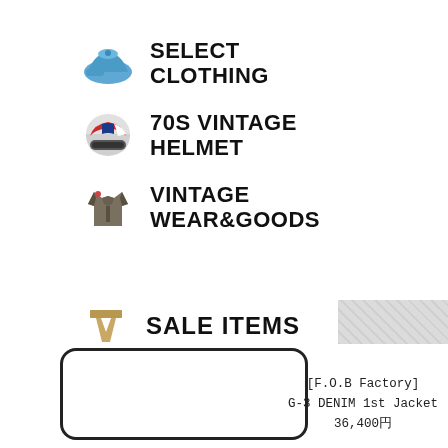SELECT CLOTHING
70s VINTAGE HELMET
VINTAGE WEAR&GOODS
SALE ITEMS
[Figure (other): Empty product image card with rounded border]
[F.O.B Factory]
G-3 DENIM 1st Jacket
36,400円